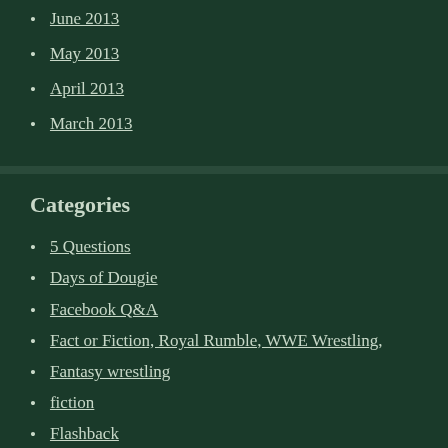June 2013
May 2013
April 2013
March 2013
Categories
5 Questions
Days of Dougie
Facebook Q&A
Fact or Fiction, Royal Rumble, WWE Wrestling,
Fantasy wrestling
fiction
Flashback